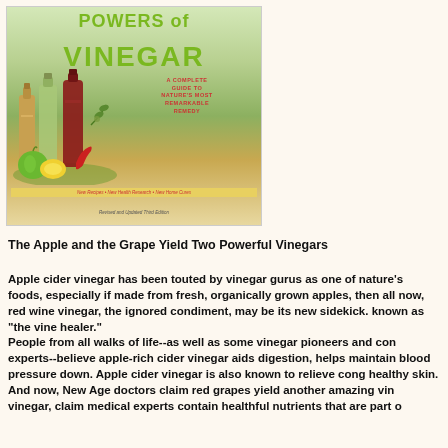[Figure (illustration): Book cover of 'Powers of Vinegar: A Complete Guide to Nature's Most Remarkable Remedy' - Revised and Updated Third Edition, showing vinegar bottles, green apple, lemon, and vegetables]
The Apple and the Grape Yield Two Powerful Vinegars
Apple cider vinegar has been touted by vinegar gurus as one of nature's foods, especially if made from fresh, organically grown apples, then all now, red wine vinegar, the ignored condiment, may be its new sidekick. known as "the vine healer."
People from all walks of life--as well as some vinegar pioneers and con experts--believe apple-rich cider vinegar aids digestion, helps maintain blood pressure down. Apple cider vinegar is also known to relieve cong healthy skin.
And now, New Age doctors claim red grapes yield another amazing vin vinegar, claim medical experts contain healthful nutrients that are part o